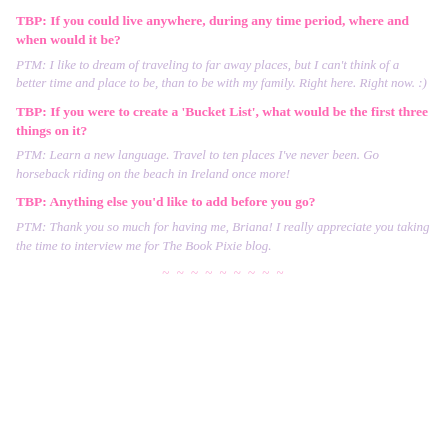TBP: If you could live anywhere, during any time period, where and when would it be?
PTM: I like to dream of traveling to far away places, but I can't think of a better time and place to be, than to be with my family. Right here. Right now. :)
TBP: If you were to create a 'Bucket List', what would be the first three things on it?
PTM: Learn a new language. Travel to ten places I've never been. Go horseback riding on the beach in Ireland once more!
TBP: Anything else you'd like to add before you go?
PTM: Thank you so much for having me, Briana! I really appreciate you taking the time to interview me for The Book Pixie blog.
~ ~ ~ ~ ~ ~ ~ ~ ~